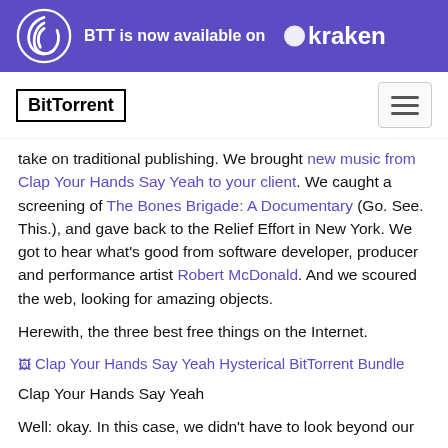[Figure (logo): Purple banner with BitTorrent swirl icon and text 'BTT is now available on Kraken' with Kraken logo]
[Figure (logo): BitTorrent logo in bordered box and hamburger menu button]
take on traditional publishing. We brought new music from Clap Your Hands Say Yeah to your client. We caught a screening of The Bones Brigade: A Documentary (Go. See. This.), and gave back to the Relief Effort in New York. We got to hear what's good from software developer, producer and performance artist Robert McDonald. And we scoured the web, looking for amazing objects.
Herewith, the three best free things on the Internet.
[Figure (photo): Clap Your Hands Say Yeah Hysterical BitTorrent Bundle image (broken/loading)]
Clap Your Hands Say Yeah
Well: okay. In this case, we didn't have to look beyond our